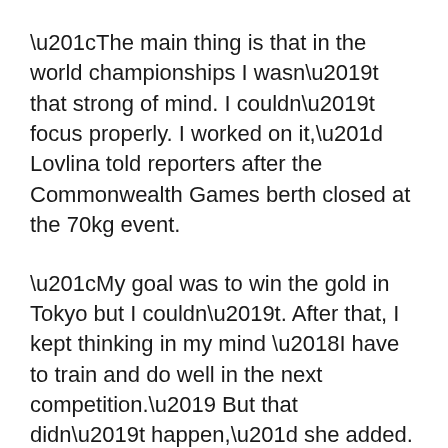“The main thing is that in the world championships I wasn’t that strong of mind. I couldn’t focus properly. I worked on it,” Lovlina told reporters after the Commonwealth Games berth closed at the 70kg event.
“My goal was to win the gold in Tokyo but I couldn’t. After that, I kept thinking in my mind ‘I have to train and do well in the next competition.’ But that didn’t happen,” she added.
Since the Olympics, the 24-year-old has had to attend countless congratulations and events, but all the attention came at a price.